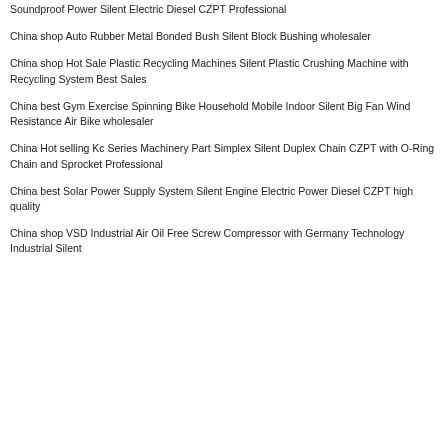Soundproof Power Silent Electric Diesel CZPT Professional
China shop Auto Rubber Metal Bonded Bush Silent Block Bushing wholesaler
China shop Hot Sale Plastic Recycling Machines Silent Plastic Crushing Machine with Recycling System Best Sales
China best Gym Exercise Spinning Bike Household Mobile Indoor Silent Big Fan Wind Resistance Air Bike wholesaler
China Hot selling Kc Series Machinery Part Simplex Silent Duplex Chain CZPT with O-Ring Chain and Sprocket Professional
China best Solar Power Supply System Silent Engine Electric Power Diesel CZPT high quality
China shop VSD Industrial Air Oil Free Screw Compressor with Germany Technology Industrial Silent